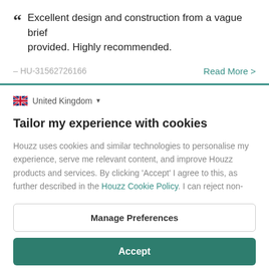Excellent design and construction from a vague brief provided. Highly recommended.
– HU-31562726166
Read More >
United Kingdom
Tailor my experience with cookies
Houzz uses cookies and similar technologies to personalise my experience, serve me relevant content, and improve Houzz products and services. By clicking 'Accept' I agree to this, as further described in the Houzz Cookie Policy. I can reject non-
Manage Preferences
Accept